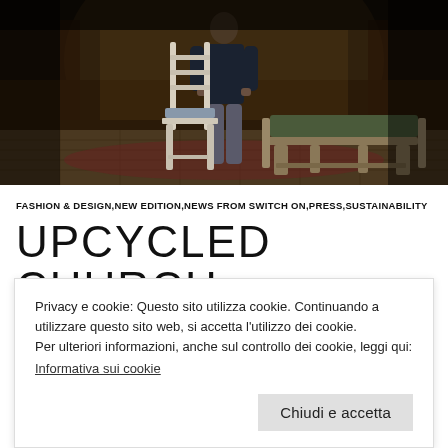[Figure (photo): A man standing in a church interior behind a tall white wooden chair and a long green-cushioned wooden bench on a patterned floor.]
FASHION & DESIGN,NEW EDITION,NEWS FROM SWITCH ON,PRESS,SUSTAINABILITY
UPCYCLED CHURCH PIECES: FROM BELGIUM TO
Privacy e cookie: Questo sito utilizza cookie. Continuando a utilizzare questo sito web, si accetta l'utilizzo dei cookie.
Per ulteriori informazioni, anche sul controllo dei cookie, leggi qui:
Informativa sui cookie
Chiudi e accetta